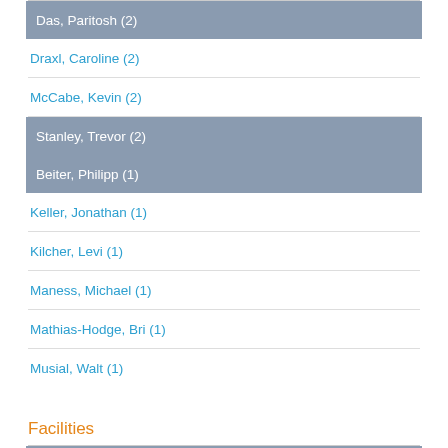Das, Paritosh (2)
Draxl, Caroline (2)
McCabe, Kevin (2)
Stanley, Trevor (2)
Beiter, Philipp (1)
Keller, Jonathan (1)
Kilcher, Levi (1)
Maness, Michael (1)
Mathias-Hodge, Bri (1)
Musial, Walt (1)
Facilities
National Wind Technology Center (NWTC) (3)
Energy Systems Integration Facility (ESIF) (2)